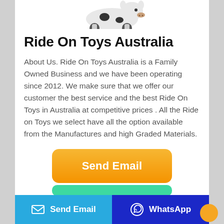[Figure (photo): Partial view of a ride-on toy (animal shape, possibly a cow or similar) at the top of the page]
Ride On Toys Australia
About Us. Ride On Toys Australia is a Family Owned Business and we have been operating since 2012. We make sure that we offer our customer the best service and the best Ride On Toys in Australia at competitive prices . All the Ride on Toys we select have all the option available from the Manufactures and high Graded Materials.
[Figure (other): Orange 'Send Email' button]
[Figure (other): Partial green button below Send Email button]
Send Email   WhatsApp